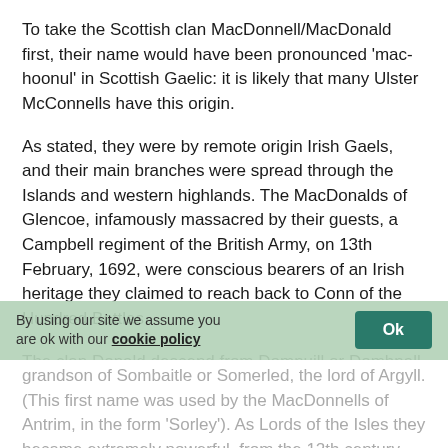To take the Scottish clan MacDonnell/MacDonald first, their name would have been pronounced 'mac-hoonul' in Scottish Gaelic: it is likely that many Ulster McConnells have this origin.
As stated, they were by remote origin Irish Gaels, and their main branches were spread through the Islands and western highlands. The MacDonalds of Glencoe, infamously massacred by their guests, a Campbell regiment of the British Army, on 13th February, 1692, were conscious bearers of an Irish heritage they claimed to reach back to Conn of the Hundred Battles.
The clan Donald descend from Domnuill or Domhnall, grandson of Sombaitle or Somerled, the lord of Argyll. (This first name was used by the MacDonnells of Antrim, in the form 'Sorley'). As Lords of the Isles they became extremely powerful, from the 12th century...